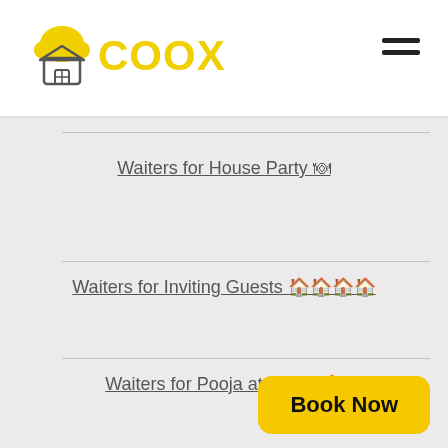COOX
Waiters for House Party 🍽
Waiters for Inviting Guests 🏠🏠🏠🏠
Waiters for Pooja at Home 🙏
Book Now